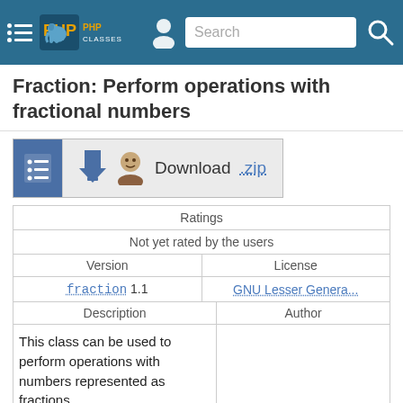PHP Classes — Search
Fraction: Perform operations with fractional numbers
[Figure (screenshot): Download .zip button with list icon]
| Ratings |
| --- |
| Not yet rated by the users |
| Version | License |
| --- | --- |
| fraction 1.1 | GNU Lesser Genera... |
| Description | Author |
| --- | --- |
| This class can be used to perform operations with numbers represented as fractions.

It takes numerator and denominator number and can perform basic operations with other fractional numbers such as addition, subtraction, |  |
This class can be used to perform operations with numbers represented as fractions.

It takes numerator and denominator number and can perform basic operations with other fractional numbers such as addition, subtraction,